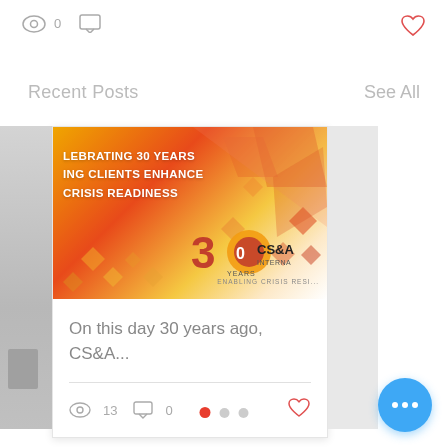[Figure (screenshot): Top bar with eye icon showing 0 views, chat bubble icon, and heart icon on the right]
Recent Posts
See All
[Figure (photo): Blog post card showing CS&A International 30th anniversary banner with text CELEBRATING 30 YEARS HELPING CLIENTS ENHANCE CRISIS READINESS and the CS&A logo]
On this day 30 years ago, CS&A...
[Figure (infographic): Card footer with eye icon showing 13 views, chat icon showing 0 comments, and heart icon]